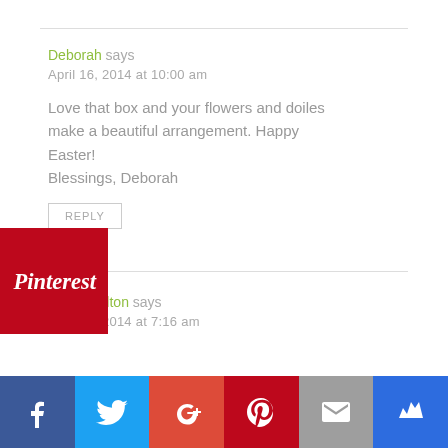Deborah says
April 16, 2014 at 10:00 am
Love that box and your flowers and doiles make a beautiful arrangement. Happy Easter!
Blessings, Deborah
REPLY
Mindie Hilton says
April 17, 2014 at 7:16 am
[Figure (logo): Pinterest badge red logo with script text]
[Figure (infographic): Social share bar with Facebook, Twitter, Google+, Pinterest, Email, and Bloglovin icons]